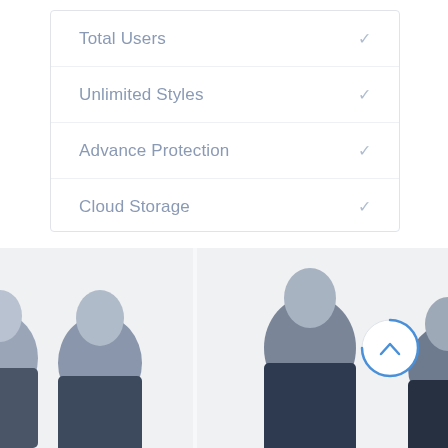Total Users
Unlimited Styles
Advance Protection
Cloud Storage
[Figure (photo): Group of business people in suits, partially cropped, with a circular scroll-up button overlay on the right side]